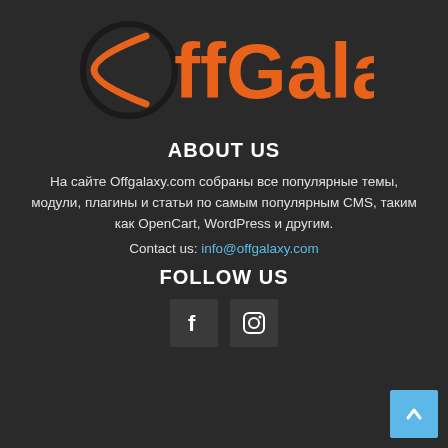[Figure (logo): OffGalaxy logo with a black circle and orange crescent/text 'ffGalaxy' in orange]
ABOUT US
На сайте Offgalaxy.com собраны все популярные темы, модули, плагины и статьи по самым популярным CMS, таким как OpenCart, WordPress и другим.
Contact us: info@offgalaxy.com
FOLLOW US
[Figure (illustration): Facebook and Instagram social media icon buttons]